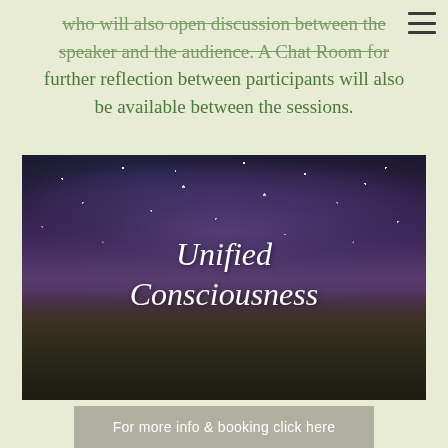who will also open discussion between the speaker and the audience. A Chat Room for further reflection between participants will also be available between the sessions.
[Figure (illustration): Night sky photograph showing the Milky Way galaxy arching over a dark landscape with hills silhouetted at the bottom. White italic text overlaid reads 'Unified Consciousness'.]
For more info & booking click here